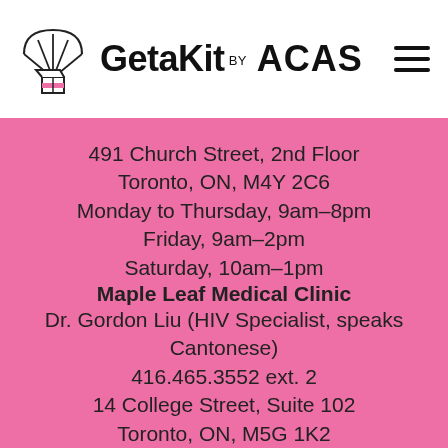[Figure (logo): GetaKit by ACAS logo with parachute and box illustration]
491 Church Street, 2nd Floor
Toronto, ON, M4Y 2C6
Monday to Thursday, 9am–8pm
Friday, 9am–2pm
Saturday, 10am–1pm
Maple Leaf Medical Clinic
Dr. Gordon Liu (HIV Specialist, speaks Cantonese)
416.465.3552 ext. 2
14 College Street, Suite 102
Toronto, ON, M5G 1K2